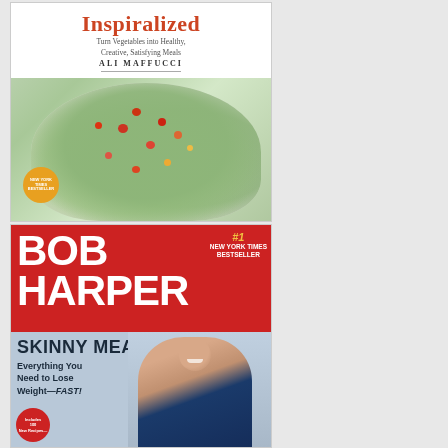[Figure (photo): Book cover for 'Inspiralized: Turn Vegetables into Healthy, Creative, Satisfying Meals' by Ali Maffucci. New York Times Bestseller. Shows zucchini noodles with tomatoes on a white plate.]
[Figure (photo): Book cover for 'Skinny Meals: Everything You Need to Lose Weight—FAST!' by Bob Harper. #1 New York Times Bestseller. Includes 100 New Recipes. Red top section with author name in large white text, lower section with photo of Bob Harper smiling.]